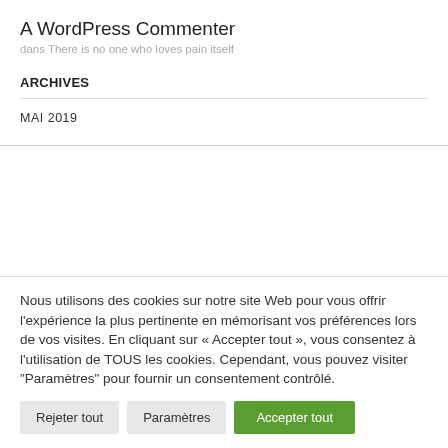A WordPress Commenter
dans There is no one who loves pain itself
ARCHIVES
MAI 2019
Nous utilisons des cookies sur notre site Web pour vous offrir l'expérience la plus pertinente en mémorisant vos préférences lors de vos visites. En cliquant sur « Accepter tout », vous consentez à l'utilisation de TOUS les cookies. Cependant, vous pouvez visiter "Paramètres" pour fournir un consentement contrôlé.
Rejeter tout   Paramètres   Accepter tout